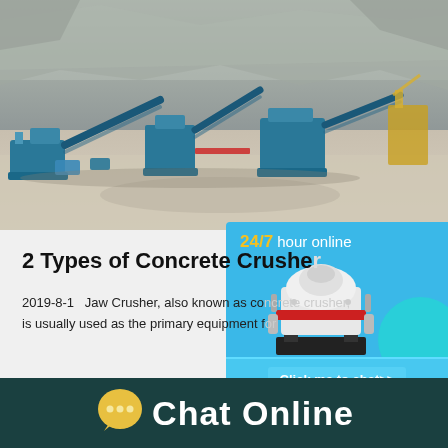[Figure (photo): Aerial/ground view of a quarry or construction site with blue/teal mobile crushing and screening equipment spread across a sandy/rocky terrain, with rocky cliffs in the background and heavy machinery including excavators visible.]
[Figure (photo): Chat widget overlay with '24/7 hour online' header text, a white cone crusher machine illustration, a teal circle, and a 'Click me to chat>>' button at the bottom, on a blue background.]
2 Types of Concrete Crushe...
2019-8-1   Jaw Crusher, also known as co... is usually used as the primary equipment f...
Chat Online